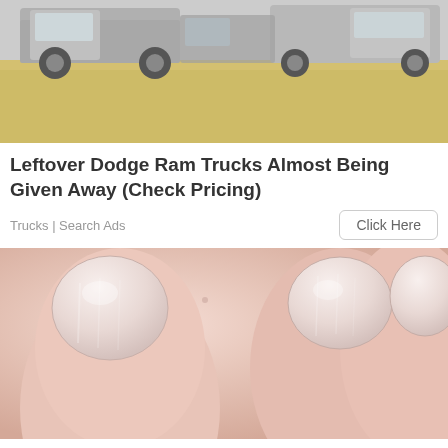[Figure (photo): Photo of Dodge Ram trucks parked on a dirt lot, vehicles visible in background]
Leftover Dodge Ram Trucks Almost Being Given Away (Check Pricing)
Trucks | Search Ads
[Figure (photo): Close-up photo of human fingernails/fingers]